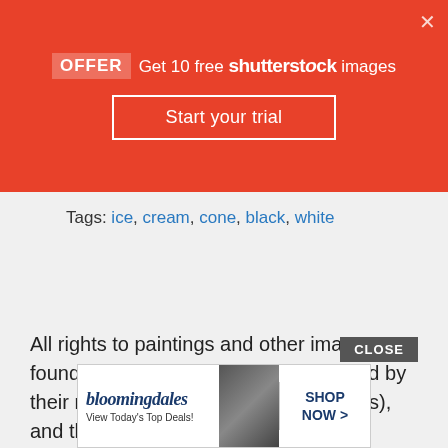[Figure (screenshot): Red Shutterstock promotional banner with 'OFFER Get 10 free shutterstock images' text and 'Start your trial' button]
Tags: ice, cream, cone, black, white
All rights to paintings and other images found on PaintingValley.com are owned by their respective owners (authors, artists), and the Administration of the website doesn't bear responsibility for their use. All the materials are intended for educational purposes only. If you consider that any of the materials violates your rights, and you do not want your material to be displayed on this website, please get in touch with us via "contact us" page and your copyrighted material will be immediately remo...
[Figure (screenshot): Bloomingdale's advertisement: 'View Today's Top Deals! SHOP NOW >']